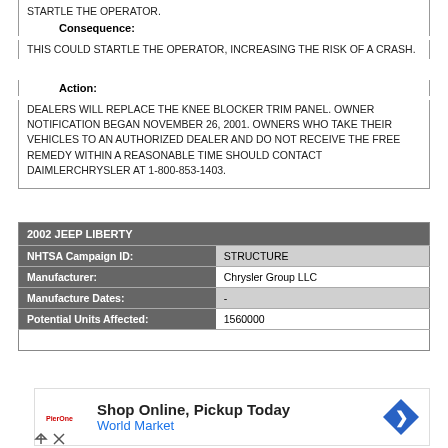STARTLE THE OPERATOR.
Consequence:
THIS COULD STARTLE THE OPERATOR, INCREASING THE RISK OF A CRASH.
Action:
DEALERS WILL REPLACE THE KNEE BLOCKER TRIM PANEL. OWNER NOTIFICATION BEGAN NOVEMBER 26, 2001. OWNERS WHO TAKE THEIR VEHICLES TO AN AUTHORIZED DEALER AND DO NOT RECEIVE THE FREE REMEDY WITHIN A REASONABLE TIME SHOULD CONTACT DAIMLERCHRYSLER AT 1-800-853-1403.
| 2002 JEEP LIBERTY |  |
| --- | --- |
| NHTSA Campaign ID: | STRUCTURE |
| Manufacturer: | Chrysler Group LLC |
| Manufacture Dates: | - |
| Potential Units Affected: | 1560000 |
| Defect Description: |  |
[Figure (other): Advertisement: Shop Online, Pickup Today - World Market]